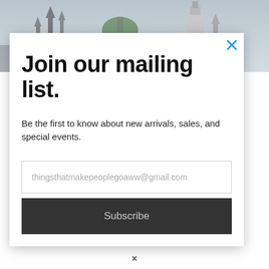[Figure (photo): Background photo of city skyline with church spires and tower, muted blue-grey tones]
Join our mailing list.
Be the first to know about new arrivals, sales, and special events.
thingsthatmakepeoplegoaww@gmail.com (email input placeholder)
Subscribe (button)